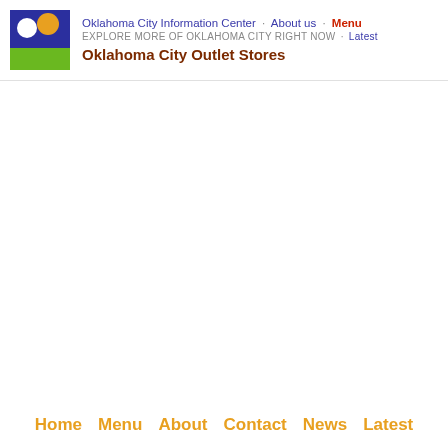Oklahoma City Information Center · About us · Menu
EXPLORE MORE OF OKLAHOMA CITY RIGHT NOW · Latest
Oklahoma City Outlet Stores
Home  Menu  About  Contact  News  Latest